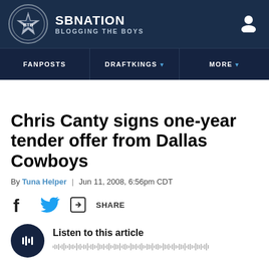SBNation - Blogging The Boys
Chris Canty signs one-year tender offer from Dallas Cowboys
By Tuna Helper | Jun 11, 2008, 6:56pm CDT
[Figure (infographic): Social share icons: Facebook, Twitter, and share button with SHARE text]
[Figure (infographic): Listen to this article player with play button and audio waveform]